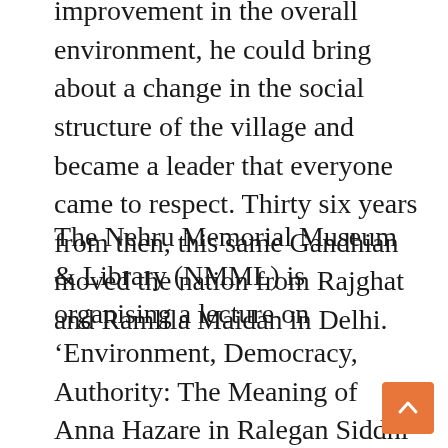improvement in the overall environment, he could bring about a change in the social structure of the village and became a leader that everyone came to respect. Thirty six years from then, this same Gandhian moved the nation from Rajghat and Ramlila Maidan in Delhi.
The Nehru Memorial Museum & Library (NMML) is organising a lecture on ‘Environment, Democracy, Authority: The Meaning of Anna Hazare in Ralegan Siddhi’ by independent scholar Mr. Mukul Sharma. ‘Green’, ‘ideal’ villages are important markers of the environmental movements in India. Anna Hazare and his environmental and social programs in Ralegan Siddhi village, Maharashtra merit attention not only for its environmental impacts, but also because of its comprehensive and multifaceted